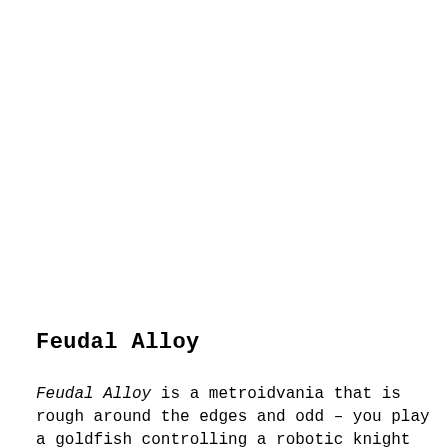Feudal Alloy
Feudal Alloy is a metroidvania that is rough around the edges and odd – you play a goldfish controlling a robotic knight in